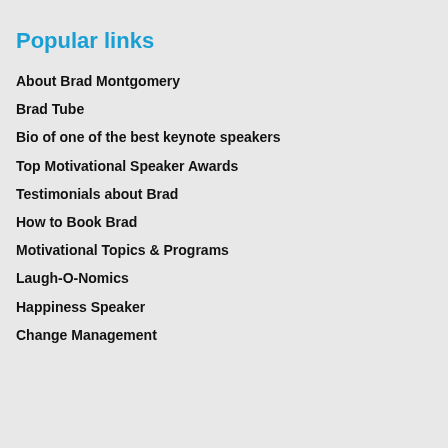Popular links
About Brad Montgomery
Brad Tube
Bio of one of the best keynote speakers
Top Motivational Speaker Awards
Testimonials about Brad
How to Book Brad
Motivational Topics & Programs
Laugh-O-Nomics
Happiness Speaker
Change Management